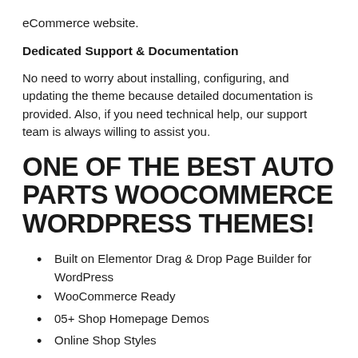eCommerce website.
Dedicated Support & Documentation
No need to worry about installing, configuring, and updating the theme because detailed documentation is provided. Also, if you need technical help, our support team is always willing to assist you.
ONE OF THE BEST AUTO PARTS WOOCOMMERCE WORDPRESS THEMES!
Built on Elementor Drag & Drop Page Builder for WordPress
WooCommerce Ready
05+ Shop Homepage Demos
Online Shop Styles